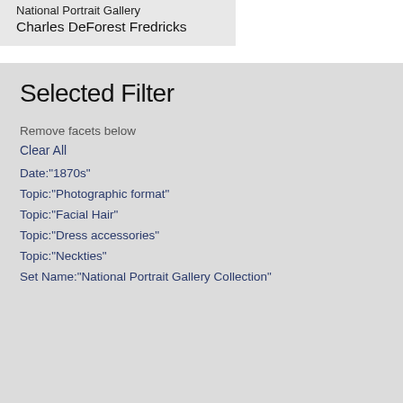National Portrait Gallery
Charles DeForest Fredricks
Selected Filter
Remove facets below
Clear All
Date:"1870s"
Topic:"Photographic format"
Topic:"Facial Hair"
Topic:"Dress accessories"
Topic:"Neckties"
Set Name:"National Portrait Gallery Collection"